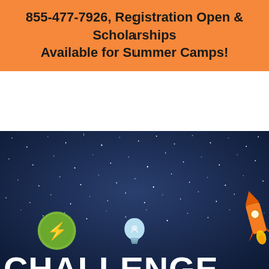855-477-7926, Registration Open & Scholarships Available for Summer Camps!
[Figure (illustration): Night sky / space themed promotional image with stars, a green circular icon with a science/microscope symbol, a light blue lightbulb icon, a partial orange rocket on the right edge, and large white text reading 'CHALLENGE' at the bottom.]